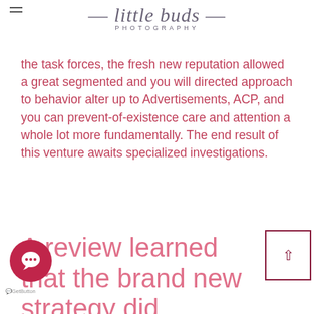little buds PHOTOGRAPHY
the task forces, the fresh new reputation allowed a great segmented and you will directed approach to behavior alter up to Advertisements, ACP, and you can prevent-of-existence care and attention a whole lot more fundamentally. The end result of this venture awaits specialized investigations.
A review learned that the brand new strategy did